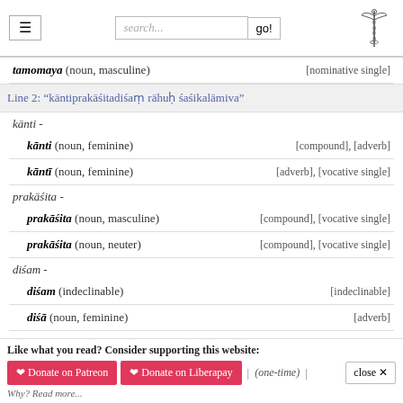search... go!
tamomaya (noun, masculine) [nominative single]
Line 2: "kāntiprakāśitadiśaṃ rāhuḥ śaśikalāmiva"
kānti -
kānti (noun, feminine) [compound], [adverb]
kāntī (noun, feminine) [adverb], [vocative single]
prakāśita -
prakāśita (noun, masculine) [compound], [vocative single]
prakāśita (noun, neuter) [compound], [vocative single]
diśam -
diśam (indeclinable) [indeclinable]
diśā (noun, feminine) [adverb]
diśa (noun, masculine) [adverb], [accusative single]
diśa (noun, neuter) [adverb], [nominative single], [accusative single]
Like what you read? Consider supporting this website: ♥ Donate on Patreon  ♥ Donate on Liberapay  | (one-time) |  close  Why? Read more...